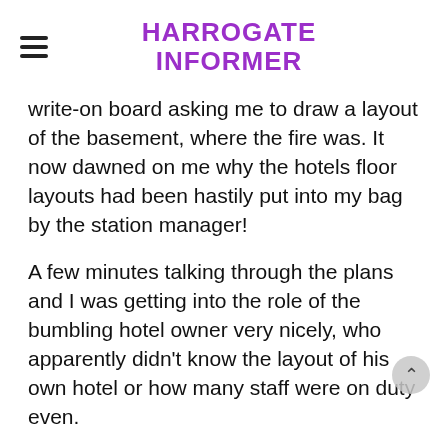HARROGATE INFORMER
write-on board asking me to draw a layout of the basement, where the fire was. It now dawned on me why the hotels floor layouts had been hastily put into my bag by the station manager!
A few minutes talking through the plans and I was getting into the role of the bumbling hotel owner very nicely, who apparently didn't know the layout of his own hotel or how many staff were on duty even.
Now back to taking photographs and watching, that was much less stressful, but not for long. Incide... Commander back to me asking how many people